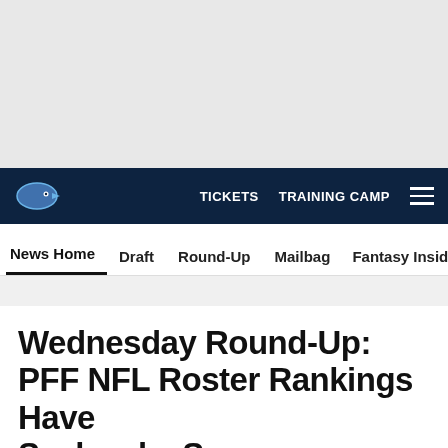[Figure (other): Gray advertisement/banner placeholder area at top of page]
TICKETS  TRAINING CAMP
News Home  Draft  Round-Up  Mailbag  Fantasy Insider  Roste
Wednesday Round-Up: PFF NFL Roster Rankings Have Seahawks Se...
[Figure (other): Social share buttons: Facebook, Twitter, Email, Link]